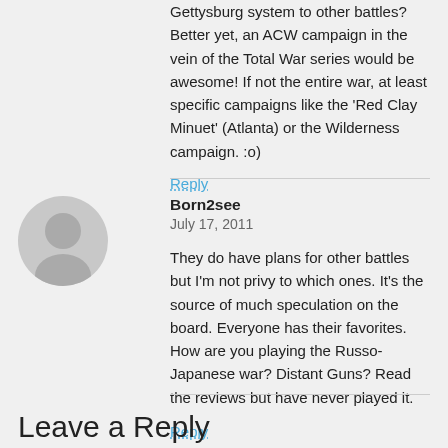Gettysburg system to other battles? Better yet, an ACW campaign in the vein of the Total War series would be awesome! If not the entire war, at least specific campaigns like the 'Red Clay Minuet' (Atlanta) or the Wilderness campaign. :o)
Reply
Born2see
July 17, 2011
They do have plans for other battles but I'm not privy to which ones. It's the source of much speculation on the board. Everyone has their favorites. How are you playing the Russo-Japanese war? Distant Guns? Read the reviews but have never played it.
Reply
Leave a Reply
Your email address will not be published. Required